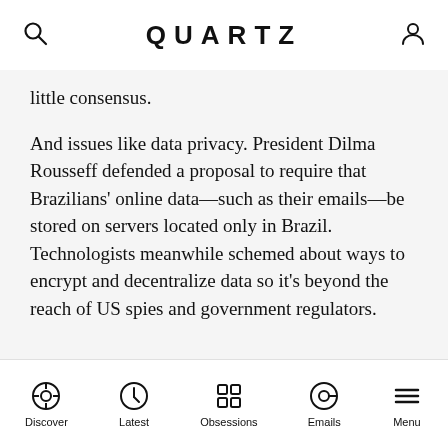QUARTZ
little consensus.
And issues like data privacy. President Dilma Rousseff defended a proposal to require that Brazilians' online data—such as their emails—be stored on servers located only in Brazil. Technologists meanwhile schemed about ways to encrypt and decentralize data so it's beyond the reach of US spies and government regulators.
Discover | Latest | Obsessions | Emails | Menu